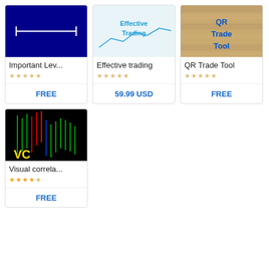[Figure (screenshot): Product card: Important Lev... - dark blue background with horizontal line icon - FREE]
[Figure (screenshot): Product card: Effective trading - cyan text on white/light background - 59.99 USD]
[Figure (screenshot): Product card: QR Trade Tool - blue text on wood texture background - FREE]
[Figure (screenshot): Product card: Visual correla... - candlestick chart on black background with VC logo - FREE, 4 star rating]